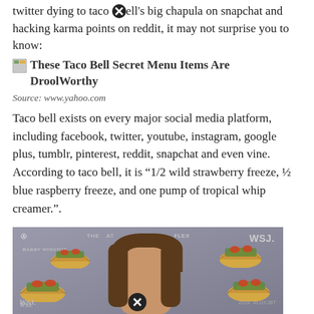twitter dying to taco bell's big chapula on snapchat and hacking karma points on reddit, it may not surprise you to know:
These Taco Bell Secret Menu Items Are DroolWorthy
Source: www.yahoo.com
Taco bell exists on every major social media platform, including facebook, twitter, youtube, instagram, google plus, tumblr, pinterest, reddit, snapchat and even vine. According to taco bell, it is “1/2 wild strawberry freeze, ½ blue raspberry freeze, and one pump of tropical whip creamer.".
[Figure (photo): Photo of a woman at a WSJ event with taco graphics overlaid, Harry Winston branding visible, close button overlay]